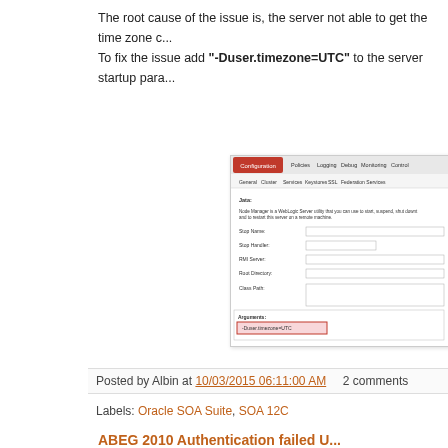The root cause of the issue is, the server not able to get the time zone c... To fix the issue add "-Duser.timezone=UTC" to the server startup para...
[Figure (screenshot): Screenshot of a server configuration panel showing tabs (Configuration, General, Cluster, Services, Keystores, SSL, Federation Services) and fields (Stop Name, Stop Handler, RMI Server, Root Directory, Class Path). At the bottom, an Arguments section shows '-Duser.timezone=UTC' highlighted in a red/pink box.]
Follow @albinsblog
Posted by Albin at 10/03/2015 06:11:00 AM   2 comments
Labels: Oracle SOA Suite, SOA 12C
ABEG 2010 Authentication failed U...